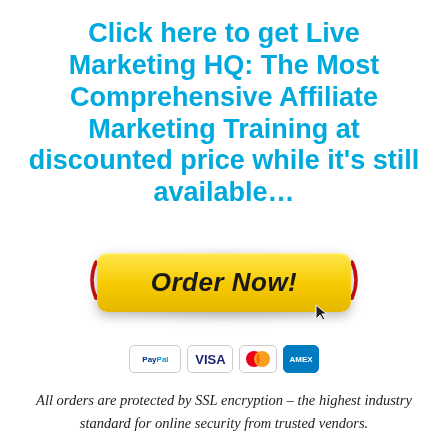Click here to get Live Marketing HQ: The Most Comprehensive Affiliate Marketing Training at discounted price while it’s still available…
[Figure (illustration): Yellow 'Order Now!' button with red curved arrows pointing at it from left and right, an oval shadow behind the button, and a cursor icon at the bottom right. Below the button are payment method badges: PayPal, VISA, Mastercard, AMEX.]
All orders are protected by SSL encryption – the highest industry standard for online security from trusted vendors.